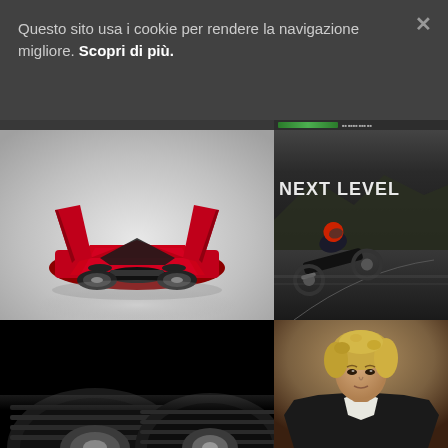Questo sito usa i cookie per rendere la navigazione migliore. Scopri di più.
[Figure (photo): Red supercar (Pagani Huayra) with gullwing doors open, front view, photographed against a light grey/white studio background]
[Figure (photo): Motorcyclist leaning into a curve on a mountain road at speed, with 'NEXT LEVEL' text overlay in bold metallic letters, dramatic sky background]
[Figure (photo): Close-up of dark truck/car tyres stacked against a black background]
[Figure (photo): Young person with curly blonde hair wearing a black leather jacket, portrait shot against warm background]